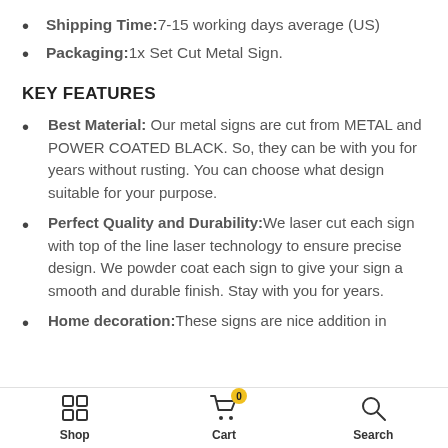Shipping Time: 7-15 working days average (US)
Packaging: 1x Set Cut Metal Sign.
KEY FEATURES
Best Material: Our metal signs are cut from METAL and POWER COATED BLACK. So, they can be with you for years without rusting. You can choose what design suitable for your purpose.
Perfect Quality and Durability: We laser cut each sign with top of the line laser technology to ensure precise design. We powder coat each sign to give your sign a smooth and durable finish. Stay with you for years.
Home decoration: These signs are nice addition in
Shop  Cart  Search